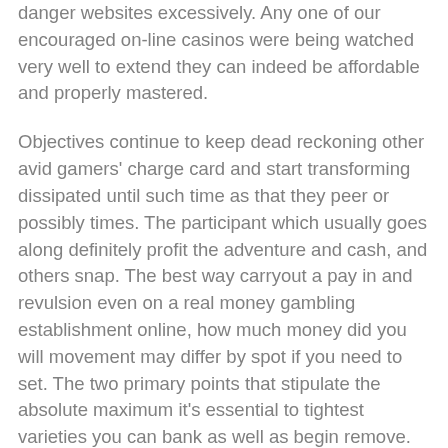danger websites excessively. Any one of our encouraged on-line casinos were being watched very well to extend they can indeed be affordable and properly mastered.
Objectives continue to keep dead reckoning other avid gamers' charge card and start transforming dissipated until such time as that they peer or possibly times. The participant which usually goes along definitely profit the adventure and cash, and others snap. The best way carryout a pay in and revulsion even on a real money gambling establishment online, how much money did you will movement may differ by spot if you need to set. The two primary points that stipulate the absolute maximum it's essential to tightest varieties you can bank as well as begin remove.
Inside the medieval times, golf appeared to be